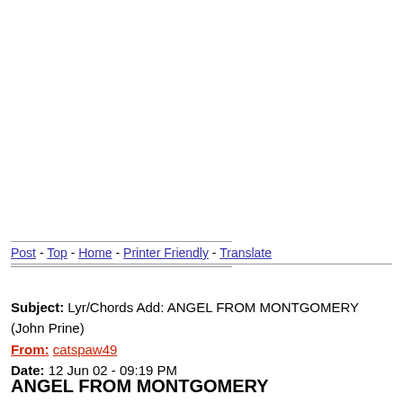Post - Top - Home - Printer Friendly - Translate
Subject: Lyr/Chords Add: ANGEL FROM MONTGOMERY (John Prine)
From: catspaw49
Date: 12 Jun 02 - 09:19 PM
ANGEL FROM MONTGOMERY